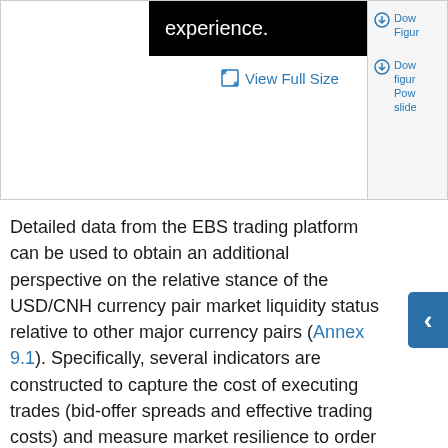[Figure (screenshot): Top portion of a figure viewer panel with black bar showing 'experience.' text, a 'View Full Size' link, and a sidebar with download links for figure in PowerPoint slide format.]
Detailed data from the EBS trading platform can be used to obtain an additional perspective on the relative stance of the USD/CNH currency pair market liquidity status relative to other major currency pairs (Annex 9.1). Specifically, several indicators are constructed to capture the cost of executing trades (bid-offer spreads and effective trading costs) and measure market resilience to order flow (order-flow price impact and order-flow price return reversal). The costs of executing trades in the USD/CNH currency pair are on average nearly as low as those for the USD/JPY and USD/EUR currency pairs, albeit with a wider distribution